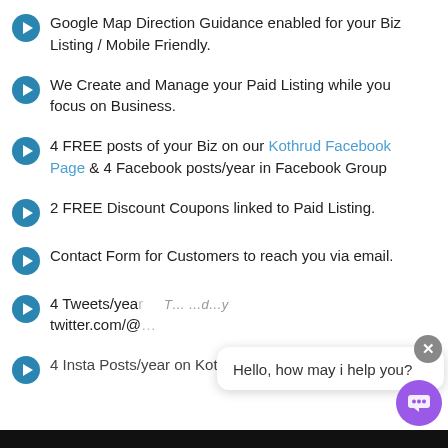Google Map Direction Guidance enabled for your Biz Listing / Mobile Friendly.
We Create and Manage your Paid Listing while you focus on Business.
4 FREE posts of your Biz on our Kothrud Facebook Page & 4 Facebook posts/year in Facebook Group
2 FREE Discount Coupons linked to Paid Listing.
Contact Form for Customers to reach you via email.
4 Tweets/year … twitter.com/@…
4 Insta Posts/year on Kothrud Instagram Account